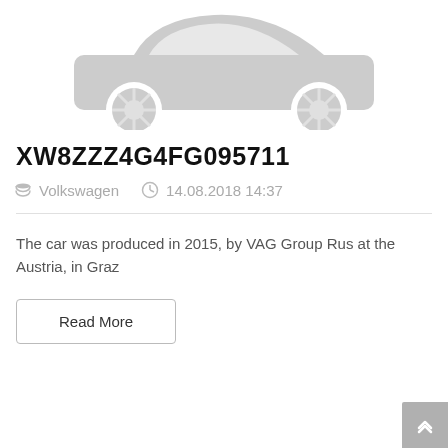[Figure (illustration): Car placeholder image with 'NO IMAGE AVAILABLE' text in grey]
XW8ZZZ4G4FG095711
Volkswagen   14.08.2018 14:37
The car was produced in 2015, by VAG Group Rus at the Austria, in Graz
Read More